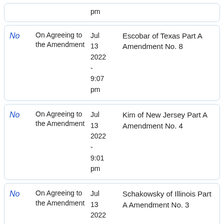| Result | Action | Date | Description |
| --- | --- | --- | --- |
| No | On Agreeing to the Amendment | Jul 13 2022 - 9:07 pm | Escobar of Texas Part A Amendment No. 8 |
| No | On Agreeing to the Amendment | Jul 13 2022 - 9:01 pm | Kim of New Jersey Part A Amendment No. 4 |
| No | On Agreeing to the Amendment | Jul 13 2022 - 8:55 pm | Schakowsky of Illinois Part A Amendment No. 3 |